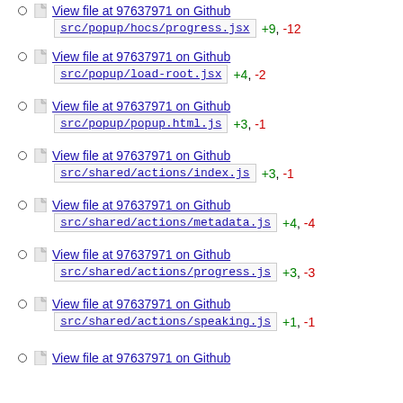View file at 97637971 on Github | src/popup/hocs/progress.jsx +9, -12
View file at 97637971 on Github | src/popup/load-root.jsx +4, -2
View file at 97637971 on Github | src/popup/popup.html.js +3, -1
View file at 97637971 on Github | src/shared/actions/index.js +3, -1
View file at 97637971 on Github | src/shared/actions/metadata.js +4, -4
View file at 97637971 on Github | src/shared/actions/progress.js +3, -3
View file at 97637971 on Github | src/shared/actions/speaking.js +1, -1
View file at 97637971 on Github | src/shared/actions/...